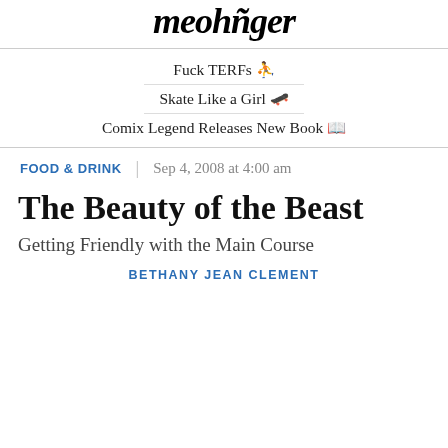meohliger
Fuck TERFs 🏳️‍⚧️
Skate Like a Girl 🛹
Comix Legend Releases New Book 📚
FOOD & DRINK | Sep 4, 2008 at 4:00 am
The Beauty of the Beast
Getting Friendly with the Main Course
BETHANY JEAN CLEMENT